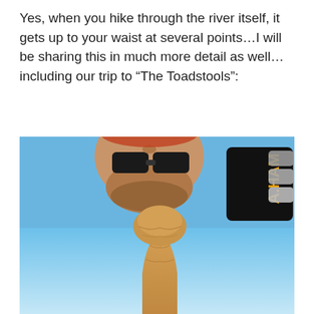Yes, when you hike through the river itself, it gets up to your waist at several points…I will be sharing this in much more detail as well…including our trip to “The Toadstools”:
[Figure (photo): An upside-down composite image: top portion shows a man's bearded face viewed from below with dark sunglasses, next to a black hat with gold text reading 'A.HAM' and another pair of sunglasses, all against a bright blue sky. Below that is a sandstone toadstool rock formation (a balanced rock / hoodoo) set against a gradient blue sky.]